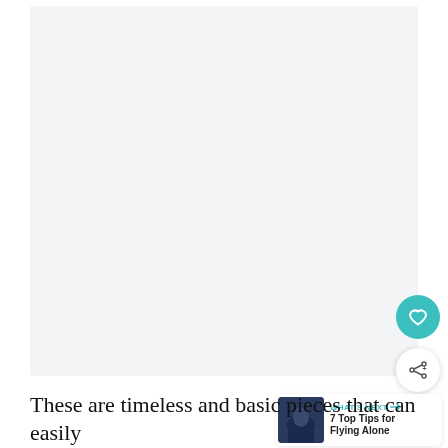[Figure (photo): Large light grey/white image area, mostly blank/white, occupying the upper portion of the page]
[Figure (illustration): Teal circular heart/like button icon on the right side]
[Figure (illustration): White circular share button with share icon on the right side]
[Figure (infographic): WHAT'S NEXT panel with thumbnail photo and text '7 Top Tips for Flying Alone']
These are timeless and basic pieces that can easily